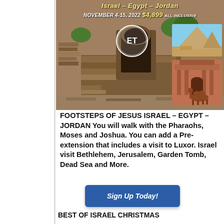[Figure (photo): Travel tour promotional image showing ancient stone steps and archway, with inset images of Egyptian pyramids and Petra (Jordan) with a camel. Header text reads 'Israel - Egypt - Jordan, November 4-15, 2022 $4,899 All Inclusive'. Circular Travel with Purpose logo visible.]
FOOTSTEPS OF JESUS ISRAEL – EGYPT – JORDAN You will walk with the Pharaohs, Moses and Joshua. You can add a Pre-extension that includes a visit to Luxor. Israel visit Bethlehem, Jerusalem, Garden Tomb, Dead Sea and More.
Sign Up Today!
BEST OF ISRAEL CHRISTMAS